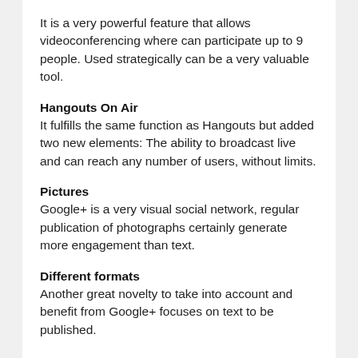It is a very powerful feature that allows videoconferencing where can participate up to 9 people. Used strategically can be a very valuable tool.
Hangouts On Air
It fulfills the same function as Hangouts but added two new elements: The ability to broadcast live and can reach any number of users, without limits.
Pictures
Google+ is a very visual social network, regular publication of photographs certainly generate more engagement than text.
Different formats
Another great novelty to take into account and benefit from Google+ focuses on text to be published.